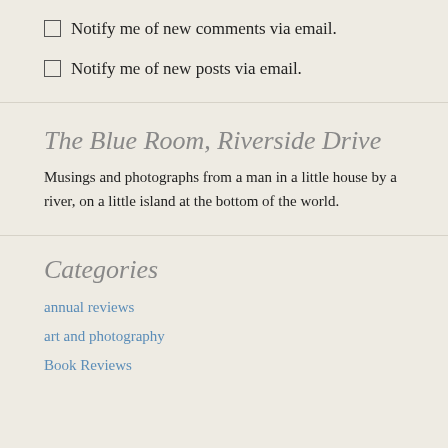Notify me of new comments via email.
Notify me of new posts via email.
The Blue Room, Riverside Drive
Musings and photographs from a man in a little house by a river, on a little island at the bottom of the world.
Categories
annual reviews
art and photography
Book Reviews